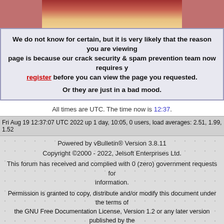[Figure (photo): Photo of food/meat at top of page]
We do not know for certain, but it is very likely that the reason you are viewing this page is because our crack security & spam prevention team now requires you to register before you can view the page you requested.

Or they are just in a bad mood.
All times are UTC. The time now is 12:37.
Fri Aug 19 12:37:07 UTC 2022 up 1 day, 10:05, 0 users, load averages: 2.51, 1.99, 1.52
Powered by vBulletin® Version 3.8.11
Copyright ©2000 - 2022, Jelsoft Enterprises Ltd.
This forum has received and complied with 0 (zero) government requests for information.
Permission is granted to copy, distribute and/or modify this document under the terms of the GNU Free Documentation License, Version 1.2 or any later version published by the Free Software Foundation.
A copy of the license is included in the FAQ.
≠ ± ∓ ÷ × · − √ ‰ ⊗ ⊕ ⊖ ∅ ⊙ ≤ ≥ ≦ ≧ ≨ ≩ < > ≪ ≫ ⊂ ⊃ ⊆ ⊇ ² ³ °
∠ ∟ ° ≡ ~ ∥ ⊥ ⌐
≡ ≜ = α ∞ ≪ ≫ || ||| • ∩ ∪ ∑ ∧ ∨ ∩ ∪ ⊙ ⊕ ⊗ ▌▐ ◁ ▷
∅ \ C ↦ ↪ ∩ ∪ ⊆ ⊂ ∉ ⊆ ⊇ ⊃ ∉ ⊇ ⊖ ∈ ∉ ∋ ∉ N Z Q R C ↗ ⊃ ⌐ ⌐
¬ ∨ ∧ ⊕ → ← ⇒ ⇐ ⇔ ∀ ∃ ∄ ∴ ∵ ⊤ ⊥ ⊢ ⊨ ⊩ ⊣ … ⋯ ⋮ ⋱
∫ ∬ ∭ ƒ ∯ ∰ ∇ Δ δ ℱ ℒ ℓ